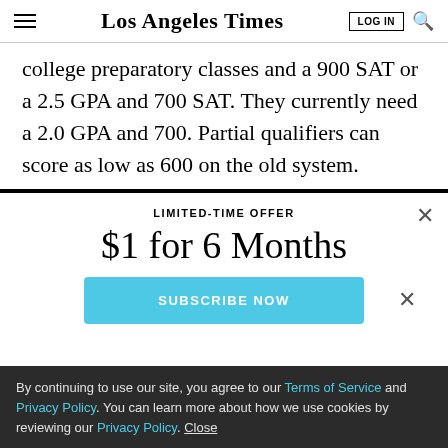Los Angeles Times — LOG IN [search]
college preparatory classes and a 900 SAT or a 2.5 GPA and 700 SAT. They currently need a 2.0 GPA and 700. Partial qualifiers can score as low as 600 on the old system.
LIMITED-TIME OFFER
$1 for 6 Months
SUBSCRIBE NOW
By continuing to use our site, you agree to our Terms of Service and Privacy Policy. You can learn more about how we use cookies by reviewing our Privacy Policy. Close